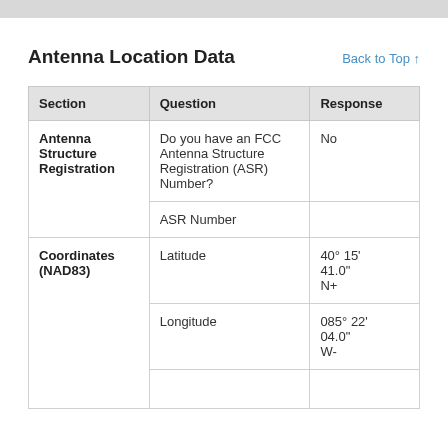Antenna Location Data
| Section | Question | Response |
| --- | --- | --- |
| Antenna Structure Registration | Do you have an FCC Antenna Structure Registration (ASR) Number? | No |
|  | ASR Number |  |
| Coordinates (NAD83) | Latitude | 40° 15' 41.0" N+ |
|  | Longitude | 085° 22' 04.0" W- |
|  |  |  |